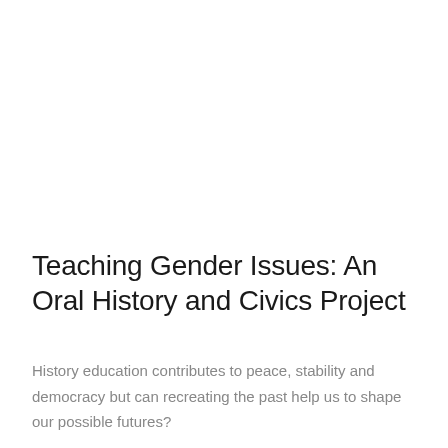Teaching Gender Issues: An Oral History and Civics Project
History education contributes to peace, stability and democracy but can recreating the past help us to shape our possible futures?